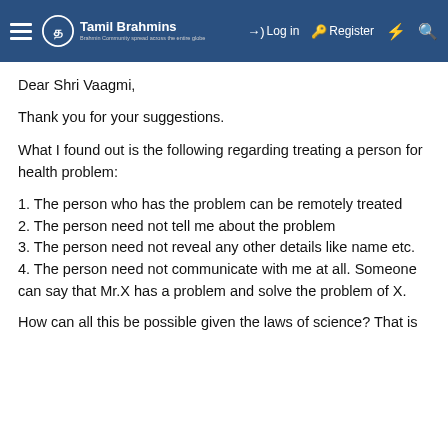Tamil Brahmins — Log in | Register
Dear Shri Vaagmi,
Thank you for your suggestions.
What I found out is the following regarding treating a person for health problem:
1. The person who has the problem can be remotely treated
2. The person need not tell me about the problem
3. The person need not reveal any other details like name etc.
4. The person need not communicate with me at all. Someone can say that Mr.X has a problem and solve the problem of X.
How can all this be possible given the laws of science? That is